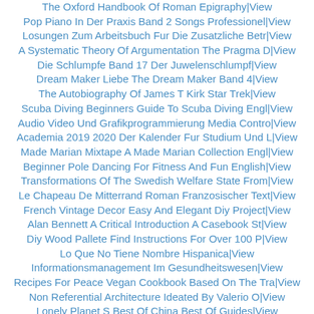The Oxford Handbook Of Roman Epigraphy|View
Pop Piano In Der Praxis Band 2 Songs Professionel|View
Losungen Zum Arbeitsbuch Fur Die Zusatzliche Betr|View
A Systematic Theory Of Argumentation The Pragma D|View
Die Schlumpfe Band 17 Der Juwelenschlumpf|View
Dream Maker Liebe The Dream Maker Band 4|View
The Autobiography Of James T Kirk Star Trek|View
Scuba Diving Beginners Guide To Scuba Diving Engl|View
Audio Video Und Grafikprogrammierung Media Contro|View
Academia 2019 2020 Der Kalender Fur Studium Und L|View
Made Marian Mixtape A Made Marian Collection Engl|View
Beginner Pole Dancing For Fitness And Fun English|View
Transformations Of The Swedish Welfare State From|View
Le Chapeau De Mitterrand Roman Franzosischer Text|View
French Vintage Decor Easy And Elegant Diy Project|View
Alan Bennett A Critical Introduction A Casebook St|View
Diy Wood Pallete Find Instructions For Over 100 P|View
Lo Que No Tiene Nombre Hispanica|View
Informationsmanagement Im Gesundheitswesen|View
Recipes For Peace Vegan Cookbook Based On The Tra|View
Non Referential Architecture Ideated By Valerio O|View
Lonely Planet S Best Of China Best Of Guides|View
Kepler S Witch An Astronomer S Discovery Of Cosmic|View